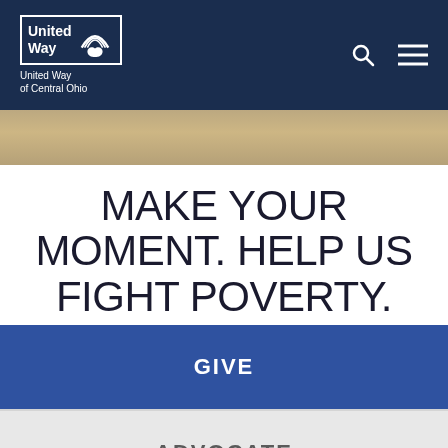[Figure (logo): United Way of Central Ohio logo with rainbow arch and hands icon, white on dark navy background, with search and menu icons]
[Figure (photo): Narrow hero image strip showing blurred outdoor background in warm tan/brown tones]
MAKE YOUR MOMENT. HELP US FIGHT POVERTY.
GIVE
ADVOCATE
VOLUNTEER